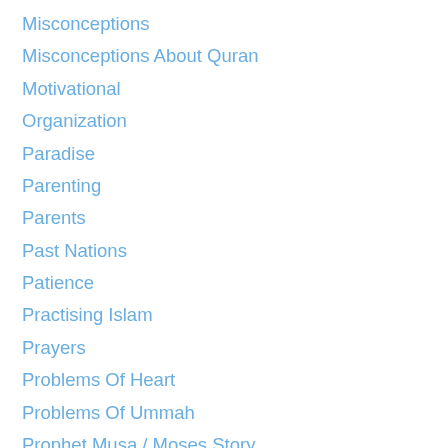Misconceptions
Misconceptions About Quran
Motivational
Organization
Paradise
Parenting
Parents
Past Nations
Patience
Practising Islam
Prayers
Problems Of Heart
Problems Of Ummah
Prophet Musa / Moses Story
Psychology
Purification Of Hearts
Quran
Ramadan
Remembering Allah
Respect
Respecting Other Religions